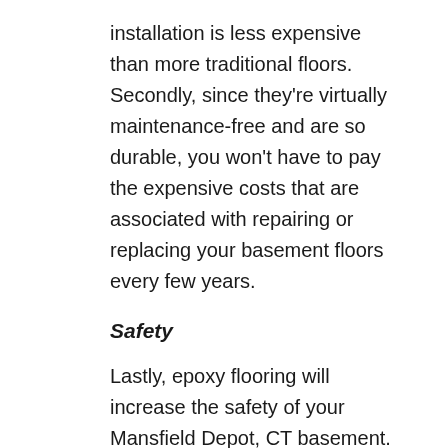installation is less expensive than more traditional floors. Secondly, since they're virtually maintenance-free and are so durable, you won't have to pay the expensive costs that are associated with repairing or replacing your basement floors every few years.
Safety
Lastly, epoxy flooring will increase the safety of your Mansfield Depot, CT basement. Certain systems, such as vinyl chip and color quartz, offer great traction and are highly slip-resistant, so your basement floors will be sturdy and safe to walk on. Since epoxy creates a seamless surface, there aren't any fibers, cracks, or crevices for debris to collect in; plus, it's virtually impermeable, so there's no need to worry about mold or mildew growth. All of these factors combined mean that an epoxy floor coating will make your basement a safe